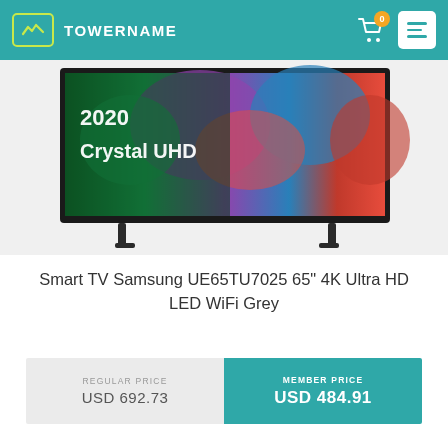TOWERNAME
[Figure (photo): Samsung Crystal UHD 2020 TV product photo showing a large flat-screen TV with colorful flower display on screen, mounted on two stands]
Smart TV Samsung UE65TU7025 65" 4K Ultra HD LED WiFi Grey
| REGULAR PRICE | MEMBER PRICE |
| --- | --- |
| USD 692.73 | USD 484.91 |